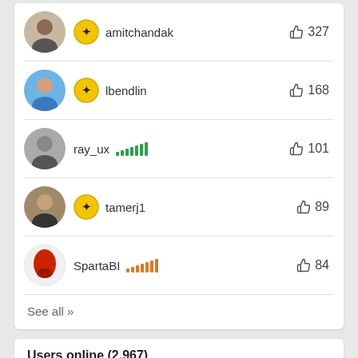amitchandak 327
lbendlin 168
ray_ux 101
tamerj1 89
SpartaBI 84
See all >>
Users online (2,967)
[Figure (photo): Row of six circular user avatar photos]